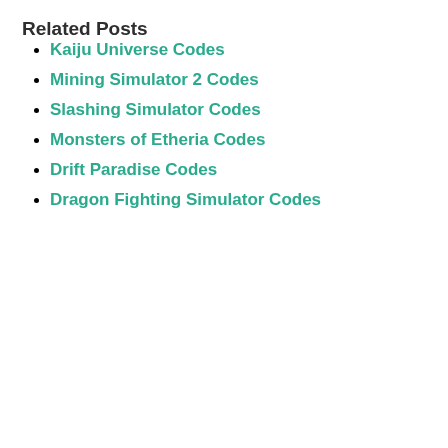Related Posts
Kaiju Universe Codes
Mining Simulator 2 Codes
Slashing Simulator Codes
Monsters of Etheria Codes
Drift Paradise Codes
Dragon Fighting Simulator Codes